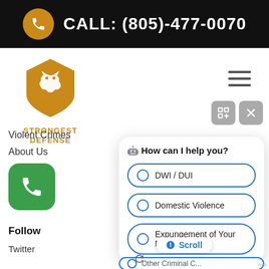CALL: (805)-477-0070
[Figure (logo): Strongest Defense logo — orange shield with white panther head, text STRONGEST DEFENSE below]
Violent Crimes
About Us
[Figure (infographic): Green rounded square button with white phone icon]
Follow
Twitter
[Figure (screenshot): Chat widget with heading 'How can I help you?' and options: DWI / DUI, Domestic Violence, Expungement of Your Record, partially visible Other Criminal C...]
[Figure (infographic): Scroll pill button with blue heart icon and text 'Scroll']